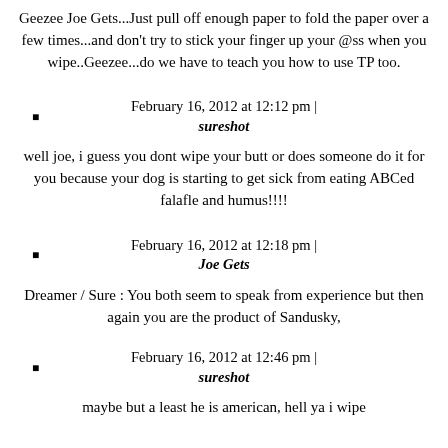Geezee Joe Gets...Just pull off enough paper to fold the paper over a few times...and don't try to stick your finger up your @ss when you wipe..Geezee...do we have to teach you how to use TP too.
February 16, 2012 at 12:12 pm | sureshot
well joe, i guess you dont wipe your butt or does someone do it for you because your dog is starting to get sick from eating ABCed falafle and humus!!!!
February 16, 2012 at 12:18 pm | Joe Gets
Dreamer / Sure : You both seem to speak from experience but then again you are the product of Sandusky,
February 16, 2012 at 12:46 pm | sureshot
maybe but a least he is american, hell ya i wipe